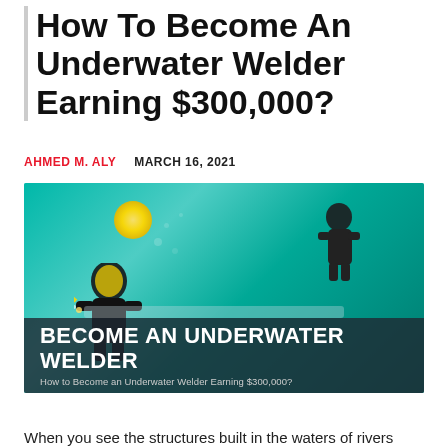How To Become An Underwater Welder Earning $300,000?
AHMED M. ALY    MARCH 16, 2021
[Figure (photo): Underwater welders working in teal/green water, wearing diving suits and helmets. One diver in the foreground with yellow helmet glowing, working on a structure. Overlay band reads 'BECOME AN UNDERWATER WELDER' with subtitle 'How to Become an Underwater Welder Earning $300,000?']
When you see the structures built in the waters of rivers